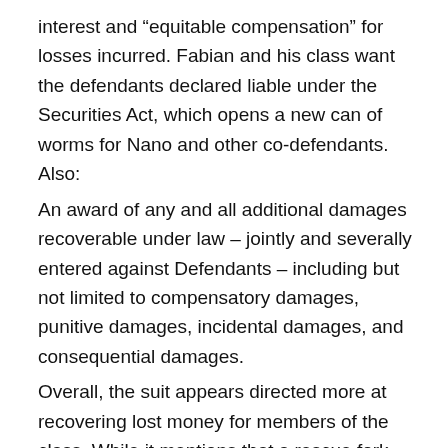interest and “equitable compensation” for losses incurred. Fabian and his class want the defendants declared liable under the Securities Act, which opens a new can of worms for Nano and other co-defendants. Also:
An award of any and all additional damages recoverable under law – jointly and severally entered against Defendants – including but not limited to compensatory damages, punitive damages, incidental damages, and consequential damages.
Overall, the suit appears directed more at recovering lost money for members of the class. While it mentions that a rescue fork was one solution that Nano developers never pursued, its actual “relief” demands do not include a rescue fork.
The entire market capitalization of Nano at time of writing